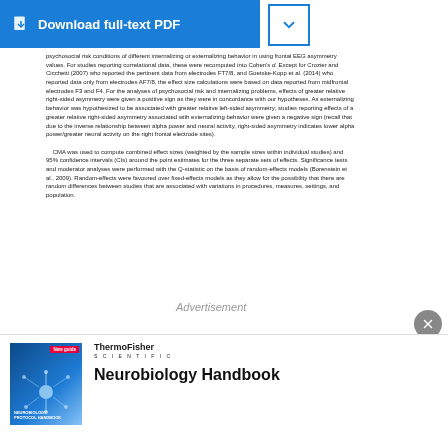[Figure (other): Download full-text PDF button (blue) with chevron dropdown button]
psychosocial risk conditions of different internalizing or externalizing behavior in using frontal EEG asymmetry values. For studies reporting correlational data, these were recomputed into Cohen's d. Except for Crozier and Cicchetti (2007) who reported the pertinent data from electrodes FT7/8, and Goetske-Kopp et al. (2014) who reported data only from electrodes AF7/8, the effect size calculations were based on data reported from midfrontal electrodes F3 and F4. For the analyses of psychosocial risk and internalizing problems, effects of greater relative right-sided asymmetry were given a positive sign as they were in concordance with our hypotheses. As externalizing behavior was hypothesized to be associated with greater relative left-sided asymmetry, studies reporting effects of a greater relative right-sided asymmetry associated with externalizing behavior were given a negative sign (recall that due to the inverse relationship between alpha power and neural activity, right-sided asymmetry indicates lower alpha power/greater neural activity on the right frontal electrode sites). CMA was used to compute combined effect sizes (weighted by the sample sizes within individual studies) and 95% confidence intervals (CIs) around the point estimates for the three separate sets of effects. Significance tests and moderator analyses were performed with the Q-statistic on the basis of random-effects models (Borenstein et al., 2009). Random-effects were favoured over fixed-effects models as they allow for the possibility that there are random differences between studies that are associated with variations in procedures, measures, settings, and population.
[Figure (other): Advertisement section with ThermoFisher Scientific Neurobiology Handbook book cover and title]
Neurobiology Handbook